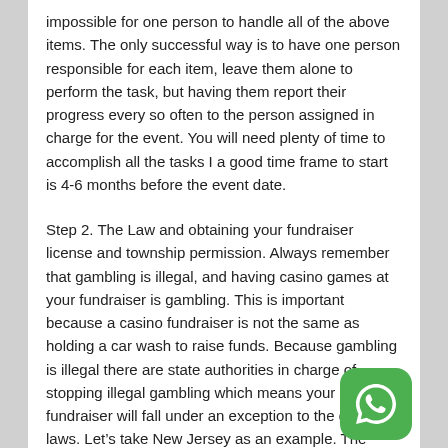impossible for one person to handle all of the above items. The only successful way is to have one person responsible for each item, leave them alone to perform the task, but having them report their progress every so often to the person assigned in charge for the event. You will need plenty of time to accomplish all the tasks I a good time frame to start is 4-6 months before the event date.
Step 2. The Law and obtaining your fundraiser license and township permission. Always remember that gambling is illegal, and having casino games at your fundraiser is gambling. This is important because a casino fundraiser is not the same as holding a car wash to raise funds. Because gambling is illegal there are state authorities in charge of stopping illegal gambling which means your casino fundraiser will fall under an exception to the gambling laws. Let's take New Jersey as an example. The state agency ABC (Alcoholic Beverage Control)is responsible to find and prevent illegal gambling, unfortunately their own handbook does not say illegal
[Figure (logo): WhatsApp logo icon — green rounded square with white phone/chat icon]